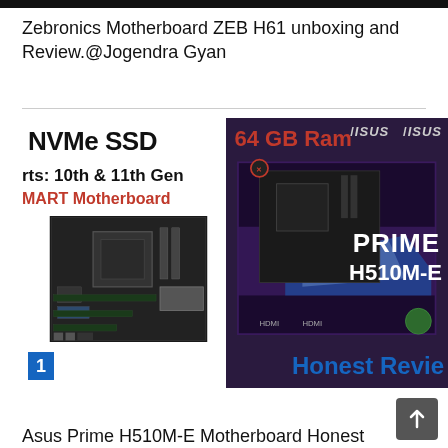Zebronics Motherboard ZEB H61 unboxing and Review.@Jogendra Gyan
[Figure (photo): Thumbnail image showing two motherboards side by side: left shows a Zebronics/ASUS motherboard with text 'NVMe SSD', 'rts: 10th & 11th Gen', 'MART Motherboard'; right shows an ASUS PRIME H510M-E box with '64 GB Ram' text. Bottom shows 'Honest Revie' text and a number '1' badge.]
Asus Prime H510M-E Motherboard Honest